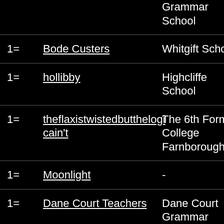| Rank | Username | School |
| --- | --- | --- |
|  |  | Grammar School |
| 1= | Bode Custers | Whitgift School |
| 1= | hollibby | Highcliffe School |
| 1= | theflaxistwistedbutthelogi cain't | The 6th Form College Farnborough |
| 1= | Moonlight | - |
| 1= | Dane Court Teachers | Dane Court Grammar |